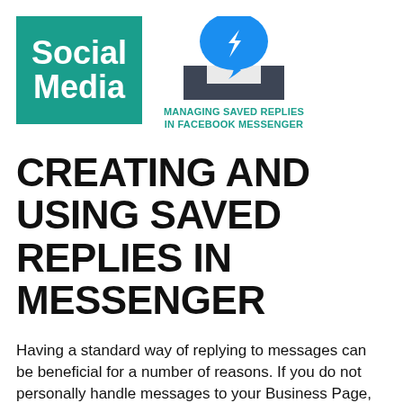[Figure (logo): Teal/green square with white bold text reading 'Social Media']
[Figure (logo): Facebook Messenger icon (blue speech bubble with lightning bolt) above a dark inbox tray icon, with teal bold text 'MANAGING SAVED REPLIES IN FACEBOOK MESSENGER' below]
CREATING AND USING SAVED REPLIES IN MESSENGER
Having a standard way of replying to messages can be beneficial for a number of reasons. If you do not personally handle messages to your Business Page, but rather have an assistant or Social Media Professional who does so- they can stay true to your brand's voice by sticking to the messenger templates and you can be absolutely certain they are all